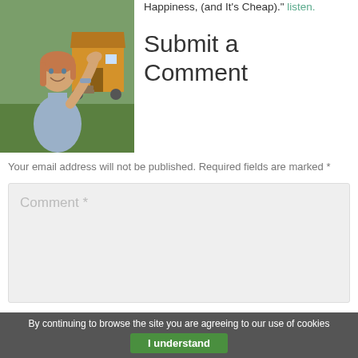[Figure (photo): A woman smiling with her hand raised, wearing a grey sweater. Behind her is a yellow wooden tiny house/shed in a garden.]
Happiness, (and It's Cheap).” listen.
Submit a Comment
Your email address will not be published. Required fields are marked *
Comment *
By continuing to browse the site you are agreeing to our use of cookies  I understand